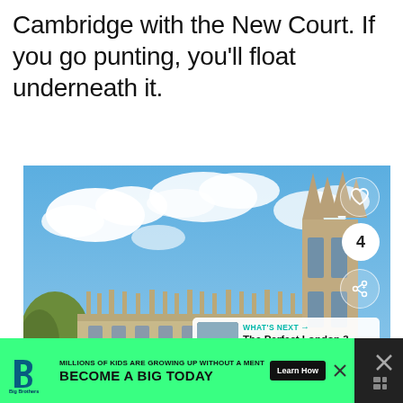Cambridge with the New Court. If you go punting, you'll float underneath it.
[Figure (photo): Photograph of Cambridge University buildings including a Gothic chapel tower on the right and a classical stone building on the left, with green lawn and a river in the foreground, blue sky with clouds. Overlaid UI elements include a heart icon, the number 4, a share icon, and a 'What's Next' card for 'The Perfect London 3 Da...']
[Figure (infographic): Advertisement banner: Big Brothers Big Sisters logo, text 'MILLIONS OF KIDS ARE GROWING UP WITHOUT A MENTOR', 'BECOME A BIG TODAY', 'Learn How' button on green background.]